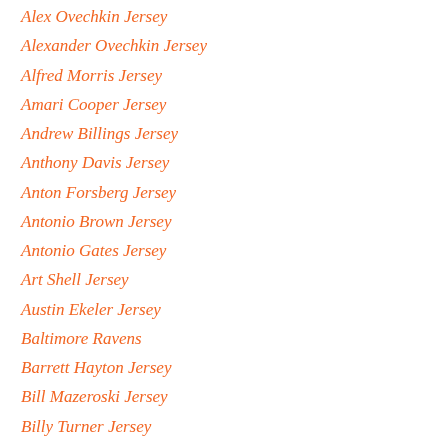Alex Ovechkin Jersey
Alexander Ovechkin Jersey
Alfred Morris Jersey
Amari Cooper Jersey
Andrew Billings Jersey
Anthony Davis Jersey
Anton Forsberg Jersey
Antonio Brown Jersey
Antonio Gates Jersey
Art Shell Jersey
Austin Ekeler Jersey
Baltimore Ravens
Barrett Hayton Jersey
Bill Mazeroski Jersey
Billy Turner Jersey